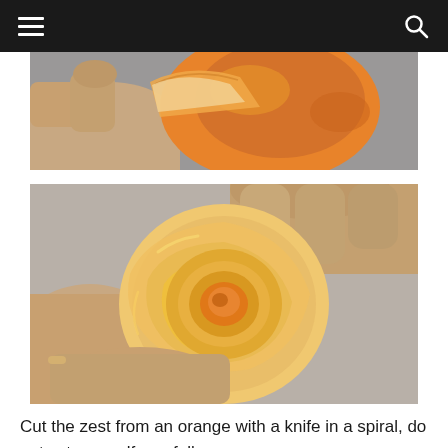[Figure (photo): Hands peeling an orange, showing the orange peel being cut away from the fruit against a gray background.]
[Figure (photo): Hands holding a spiral of orange peel arranged into a rose shape, showing the inner orange color at the center, against a gray background.]
Cut the zest from an orange with a knife in a spiral, do not cut yourself carefully.